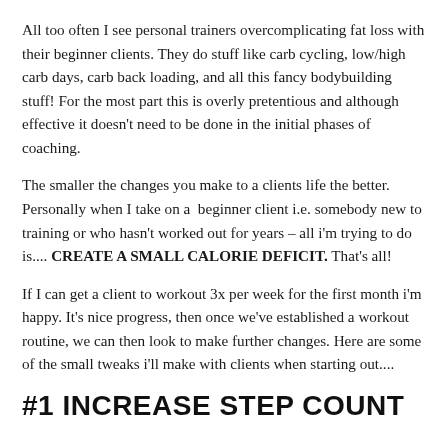All too often I see personal trainers overcomplicating fat loss with their beginner clients. They do stuff like carb cycling, low/high carb days, carb back loading, and all this fancy bodybuilding stuff! For the most part this is overly pretentious and although effective it doesn't need to be done in the initial phases of coaching.
The smaller the changes you make to a clients life the better. Personally when I take on a  beginner client i.e. somebody new to training or who hasn't worked out for years – all i'm trying to do is.... CREATE A SMALL CALORIE DEFICIT. That's all!
If I can get a client to workout 3x per week for the first month i'm happy. It's nice progress, then once we've established a workout routine, we can then look to make further changes. Here are some of the small tweaks i'll make with clients when starting out....
#1 INCREASE STEP COUNT